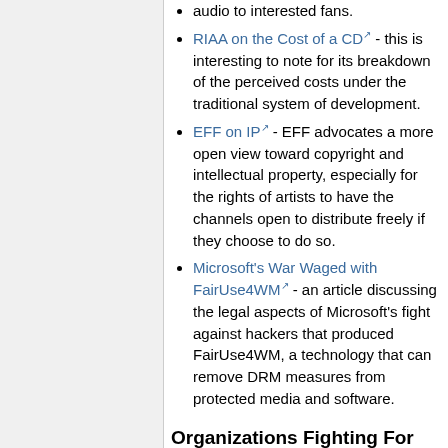audio to interested fans.
RIAA on the Cost of a CD - this is interesting to note for its breakdown of the perceived costs under the traditional system of development.
EFF on IP - EFF advocates a more open view toward copyright and intellectual property, especially for the rights of artists to have the channels open to distribute freely if they choose to do so.
Microsoft's War Waged with FairUse4WM - an article discussing the legal aspects of Microsoft's fight against hackers that produced FairUse4WM, a technology that can remove DRM measures from protected media and software.
Organizations Fighting For